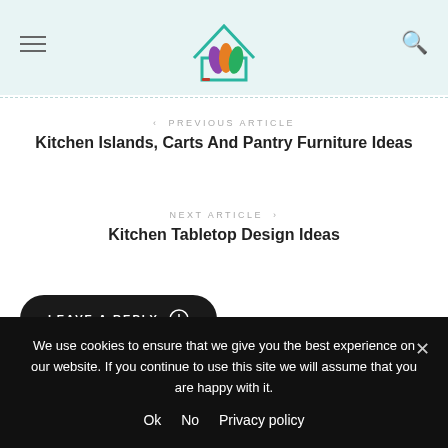[Figure (logo): Home decor website logo with colorful leaf shapes inside a house outline in teal]
< PREVIOUS ARTICLE
Kitchen Islands, Carts And Pantry Furniture Ideas
NEXT ARTICLE >
Kitchen Tabletop Design Ideas
LEAVE A REPLY ⊕
We use cookies to ensure that we give you the best experience on our website. If you continue to use this site we will assume that you are happy with it.
Ok   No   Privacy policy